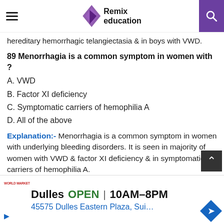Remix education
hereditary hemorrhagic telangiectasia & in boys with VWD.
89 Menorrhagia is a common symptom in women with ?
A. VWD
B. Factor XI deficiency
C. Symptomatic carriers of hemophilia A
D. All of the above
Explanation:- Menorrhagia is a common symptom in women with underlying bleeding disorders. It is seen in majority of women with VWD & factor XI deficiency & in symptomatic carriers of hemophilia A.
90 Which of the following is called a “life-threatening site of bleeding” ?
Dulles OPEN 10AM–8PM  45575 Dulles Eastern Plaza, Sui...